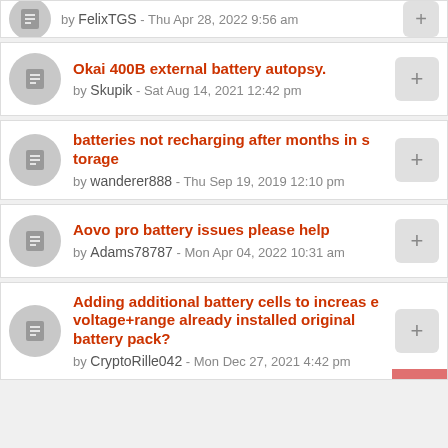by FelixTGS - Thu Apr 28, 2022 9:56 am
Okai 400B external battery autopsy. by Skupik - Sat Aug 14, 2021 12:42 pm
batteries not recharging after months in storage by wanderer888 - Thu Sep 19, 2019 12:10 pm
Aovo pro battery issues please help by Adams78787 - Mon Apr 04, 2022 10:31 am
Adding additional battery cells to increase voltage+range already installed original battery pack? by CryptoRille042 - Mon Dec 27, 2021 4:42 pm